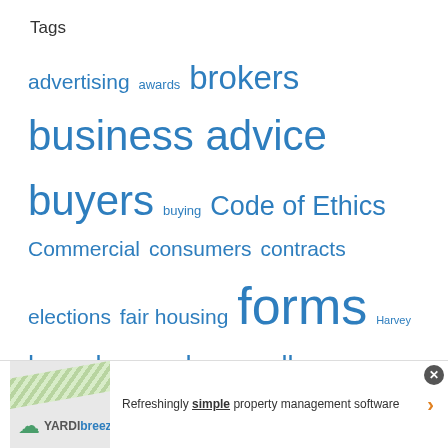Tags
advertising awards brokers business advice buyers buying Code of Ethics Commercial consumers contracts elections fair housing forms Harvey homebuyers homesellers Hurricane Harvey Legal legal faq legislative affairs marketing marketviewer member benefits MLS NAR negotiation political affairs Property management renters Research rpr Seller's Disclosure sellers selling share this social media survey taxes technology tips tenants Texas Legislature
[Figure (infographic): Yardi Breeze advertisement banner at bottom of page. Shows striped green diagonal pattern on left, Yardi Breeze logo with cloud icon, and text 'Refreshingly simple property management software' with orange arrow on right.]